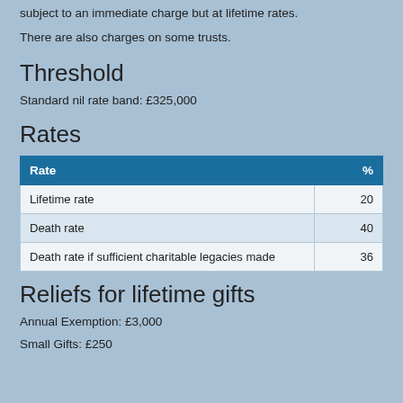subject to an immediate charge but at lifetime rates.
There are also charges on some trusts.
Threshold
Standard nil rate band: £325,000
Rates
| Rate | % |
| --- | --- |
| Lifetime rate | 20 |
| Death rate | 40 |
| Death rate if sufficient charitable legacies made | 36 |
Reliefs for lifetime gifts
Annual Exemption: £3,000
Small Gifts: £250